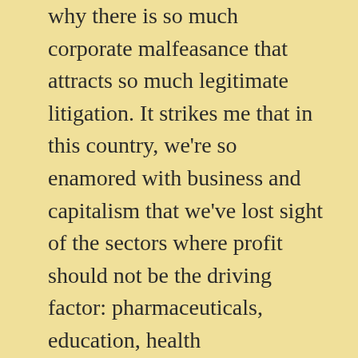why there is so much corporate malfeasance that attracts so much legitimate litigation. It strikes me that in this country, we're so enamored with business and capitalism that we've lost sight of the sectors where profit should not be the driving factor: pharmaceuticals, education, health insurance/medicine, defense. (This is well off topic but briefly, I've been seeing a lot of interviews with Richard Clarke, who's arguing that our complete aversion to regulation is leaving the US incredibly vulnerable to cyberattack because the current policy of the government is to defend itself but the private sector is on its own. That includes